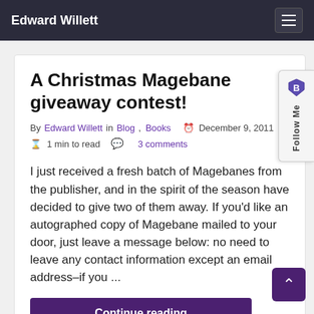Edward Willett
A Christmas Magebane giveaway contest!
By Edward Willett in Blog, Books  December 9, 2011
1 min to read   3 comments
I just received a fresh batch of Magebanes from the publisher, and in the spirit of the season have decided to give two of them away. If you'd like an autographed copy of Magebane mailed to your door, just leave a message below: no need to leave any contact information except an email address–if you ...
Continue reading